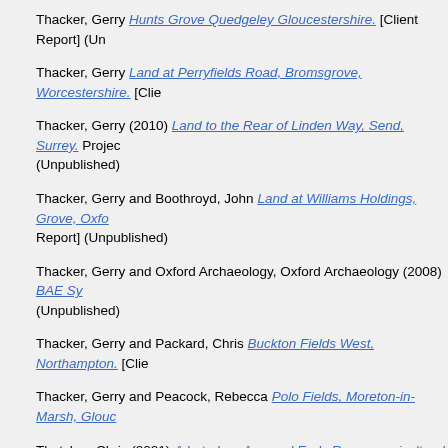Thacker, Gerry Hunts Grove Quedgeley Gloucestershire. [Client Report] (Un
Thacker, Gerry Land at Perryfields Road, Bromsgrove, Worcestershire. [Clie
Thacker, Gerry (2010) Land to the Rear of Linden Way, Send, Surrey. Projec (Unpublished)
Thacker, Gerry and Boothroyd, John Land at Williams Holdings, Grove, Oxfo Report] (Unpublished)
Thacker, Gerry and Oxford Archaeology, Oxford Archaeology (2008) BAE Sy (Unpublished)
Thacker, Gerry and Packard, Chris Buckton Fields West, Northampton. [Clie
Thacker, Gerry and Peacock, Rebecca Polo Fields, Moreton-in-Marsh, Glouc
Thatcher, Chris (2021) A Late Iron Age and Early Roman agricultural landsca [Client Report] (Unpublished)
Thatcher, Chris (2008) Multi-period excavation at New Road, Chatteris. [Clie
Thatcher, Chris (2019) Roman to medieval remains at Edison Bell Way, Hun (Unpublished)
Thatcher, Chris and Phillips, Tom (2022) A Late Iron Age and Romano-Britis Cambridgeshire. [Client Report] (Unpublished)
Thatcher, Chris (2018) A Late Iron Age and Roman Settlement near Cambou [Client Report] (Unpublished)